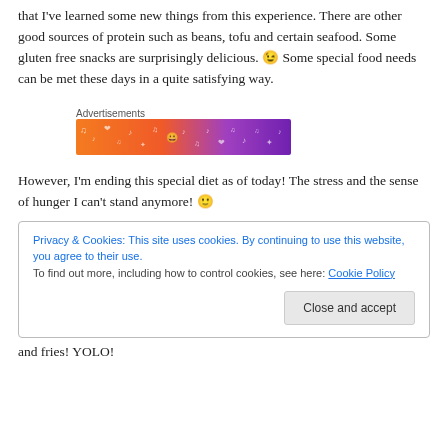that I've learned some new things from this experience. There are other good sources of protein such as beans, tofu and certain seafood. Some gluten free snacks are surprisingly delicious. 😉 Some special food needs can be met these days in a quite satisfying way.
[Figure (other): Advertisements banner label with a colorful orange-to-purple gradient banner image with music notes and emoji decorations]
However, I'm ending this special diet as of today! The stress and the sense of hunger I can't stand anymore! 🙂
Privacy & Cookies: This site uses cookies. By continuing to use this website, you agree to their use. To find out more, including how to control cookies, see here: Cookie Policy
and fries! YOLO!